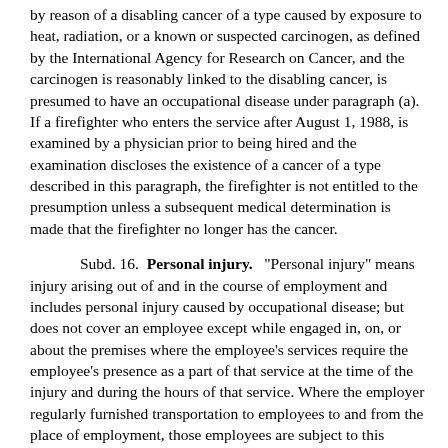by reason of a disabling cancer of a type caused by exposure to heat, radiation, or a known or suspected carcinogen, as defined by the International Agency for Research on Cancer, and the carcinogen is reasonably linked to the disabling cancer, is presumed to have an occupational disease under paragraph (a). If a firefighter who enters the service after August 1, 1988, is examined by a physician prior to being hired and the examination discloses the existence of a cancer of a type described in this paragraph, the firefighter is not entitled to the presumption unless a subsequent medical determination is made that the firefighter no longer has the cancer.
Subd. 16. Personal injury. "Personal injury" means injury arising out of and in the course of employment and includes personal injury caused by occupational disease; but does not cover an employee except while engaged in, on, or about the premises where the employee's services require the employee's presence as a part of that service at the time of the injury and during the hours of that service. Where the employer regularly furnished transportation to employees to and from the place of employment, those employees are subject to this chapter while being so transported. Personal